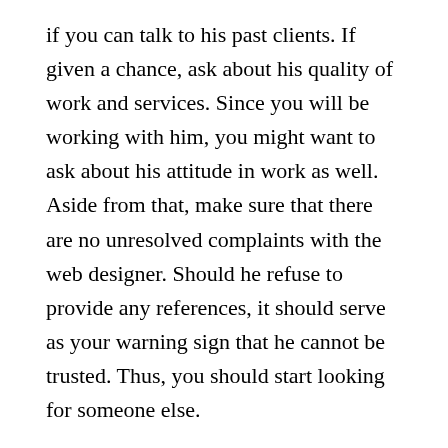if you can talk to his past clients. If given a chance, ask about his quality of work and services. Since you will be working with him, you might want to ask about his attitude in work as well. Aside from that, make sure that there are no unresolved complaints with the web designer. Should he refuse to provide any references, it should serve as your warning sign that he cannot be trusted. Thus, you should start looking for someone else.
4. Knowledge in latest technology
Web designing advances with the evolution of technology. Therefore, you should choose someone who is knowledgeable in the latest technology. Make